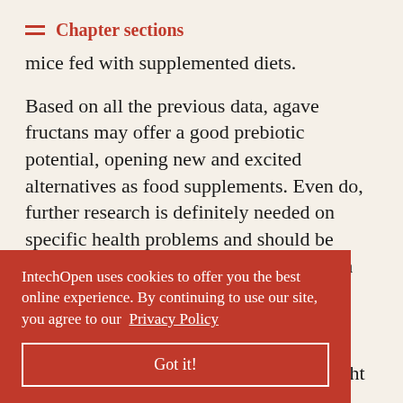Chapter sections
mice fed with supplemented diets.
Based on all the previous data, agave fructans may offer a good prebiotic potential, opening new and excited alternatives as food supplements. Even do, further research is definitely needed on specific health problems and should be performed using supplemented diets with agavins of different structures as well as different mixtures and concentrations, because more knowledge is needed colon cancer might be
IntechOpen uses cookies to offer you the best online experience. By continuing to use our site, you agree to our Privacy Policy
Got it!